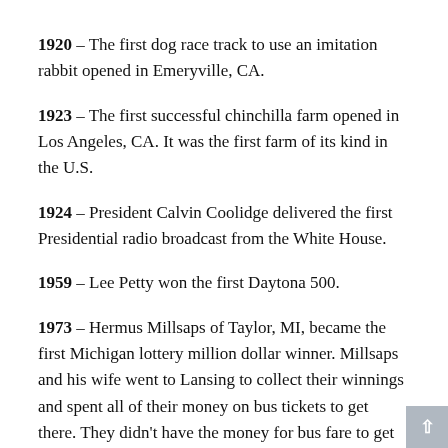1920 – The first dog race track to use an imitation rabbit opened in Emeryville, CA.
1923 – The first successful chinchilla farm opened in Los Angeles, CA. It was the first farm of its kind in the U.S.
1924 – President Calvin Coolidge delivered the first Presidential radio broadcast from the White House.
1959 – Lee Petty won the first Daytona 500.
1973 – Hermus Millsaps of Taylor, MI, became the first Michigan lottery million dollar winner. Millsaps and his wife went to Lansing to collect their winnings and spent all of their money on bus tickets to get there. They didn't have the money for bus fare to get home. A lottery agent drove the couple home.
1974 – The final episode of the “Sonny and Cher Comedy